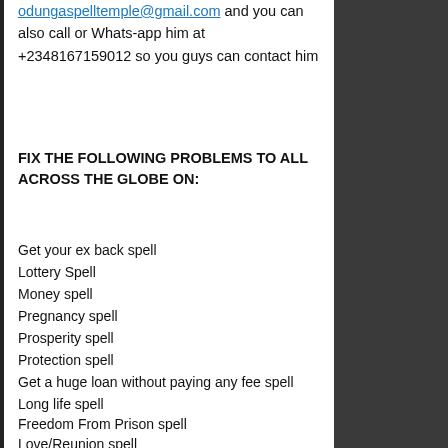odungaspelltemple@gmail.com and you can also call or Whats-app him at +2348167159012 so you guys can contact him
FIX THE FOLLOWING PROBLEMS TO ALL ACROSS THE GLOBE ON:
Get your ex back spell
Lottery Spell
Money spell
Pregnancy spell
Prosperity spell
Protection spell
Get a huge loan without paying any fee spell
Long life spell
Freedom From Prison spell
Love/Reunion spell